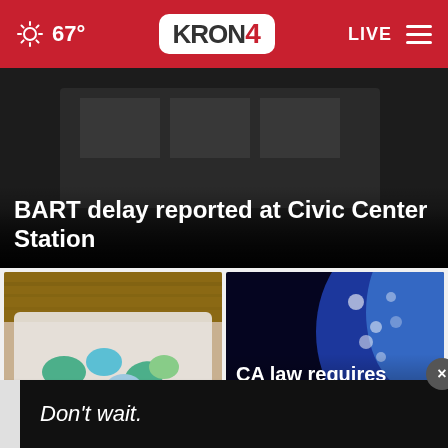67° KRON4 LIVE
[Figure (screenshot): Dark interior scene, top of BART station or building]
BART delay reported at Civic Center Station
[Figure (photo): Colorful rainbow fentanyl pills in a plastic container on a wooden surface]
What is rainbow fen…
[Figure (photo): Dark background with blue lighting and Biden text visible, a person at a podium]
CA law requires electors vote for popul ×
Don't wait.